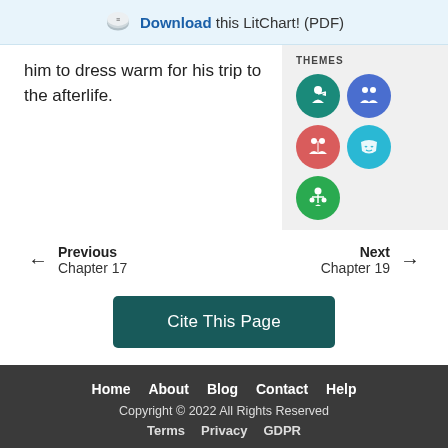Download this LitChart! (PDF)
him to dress warm for his trip to the afterlife.
[Figure (infographic): THEMES section with 5 colored circular icon badges: teal (person with map/arrow), blue (two people/relationship), red/coral (two people facing), cyan (theater mask), green (person with scales/balance)]
Previous Chapter 17
Next Chapter 19
Cite This Page
Home   About   Blog   Contact   Help
Copyright © 2022 All Rights Reserved
Terms   Privacy   GDPR